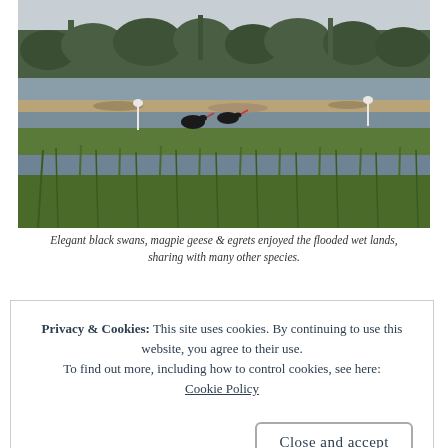[Figure (photo): Wetland landscape photo showing black swans, egrets, and magpie geese in flooded wetlands with green reeds in the foreground, water channels, sandy banks, and a tree line in the background.]
Elegant black swans, magpie geese & egrets enjoyed the flooded wet lands, sharing with many other species.
Privacy & Cookies: This site uses cookies. By continuing to use this website, you agree to their use. To find out more, including how to control cookies, see here: Cookie Policy
Close and accept